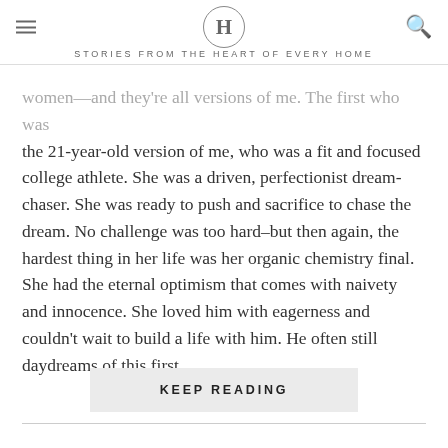H — STORIES FROM THE HEART OF EVERY HOME
women—and they're all versions of me. The first who was the 21-year-old version of me, who was a fit and focused college athlete. She was a driven, perfectionist dream-chaser. She was ready to push and sacrifice to chase the dream. No challenge was too hard–but then again, the hardest thing in her life was her organic chemistry final. She had the eternal optimism that comes with naivety and innocence. She loved him with eagerness and couldn't wait to build a life with him. He often still daydreams of this first…
KEEP READING